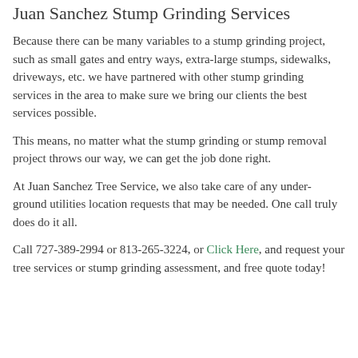Juan Sanchez Stump Grinding Services
Because there can be many variables to a stump grinding project, such as small gates and entry ways, extra-large stumps, sidewalks, driveways, etc. we have partnered with other stump grinding services in the area to make sure we bring our clients the best services possible.
This means, no matter what the stump grinding or stump removal project throws our way, we can get the job done right.
At Juan Sanchez Tree Service, we also take care of any under-ground utilities location requests that may be needed. One call truly does do it all.
Call 727-389-2994 or 813-265-3224, or Click Here, and request your tree services or stump grinding assessment, and free quote today!